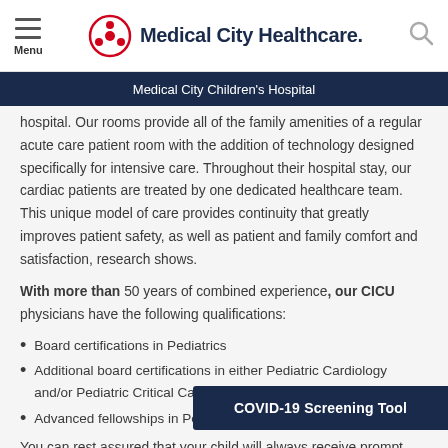Medical City Healthcare — Menu / Logo / Search
Medical City Children's Hospital
hospital. Our rooms provide all of the family amenities of a regular acute care patient room with the addition of technology designed specifically for intensive care. Throughout their hospital stay, our cardiac patients are treated by one dedicated healthcare team. This unique model of care provides continuity that greatly improves patient safety, as well as patient and family comfort and satisfaction, research shows.
With more than 50 years of combined experience, our CICU physicians have the following qualifications:
Board certifications in Pediatrics
Additional board certifications in either Pediatric Cardiology and/or Pediatric Critical Ca…
Advanced fellowships in Ped…
You can rest assured that your child will always receive prompt,
COVID-19 Screening Tool